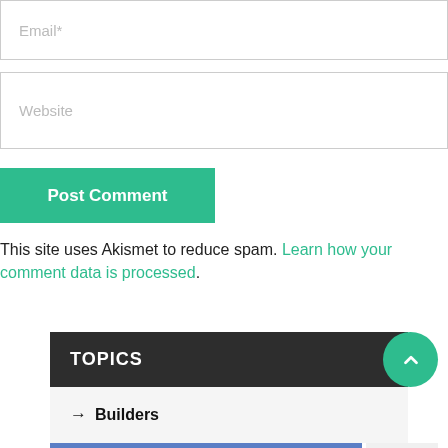Email*
Website
Post Comment
This site uses Akismet to reduce spam. Learn how your comment data is processed.
TOPICS
→ Builders
[Figure (screenshot): Ad banner with text 'You okay?' on blue background with close button]